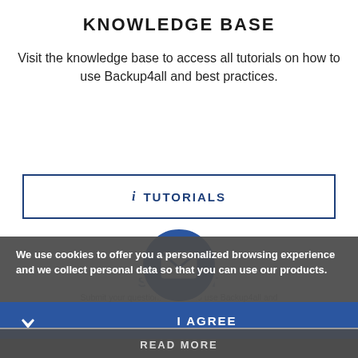KNOWLEDGE BASE
Visit the knowledge base to access all tutorials on how to use Backup4all and best practices.
[Figure (other): Blue circular button with envelope/email icon representing tutorials or contact]
TUTORIALS (button with info icon)
We use cookies to offer you a personalized browsing experience and we collect personal data so that you can use our products.
I AGREE (button)
READ MORE (button)